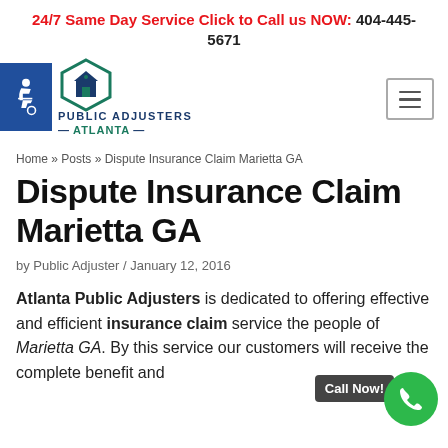24/7 Same Day Service Click to Call us NOW: 404-445-5671
[Figure (logo): Accessibility icon in blue box plus Public Adjusters Atlanta house logo and company name]
Home » Posts » Dispute Insurance Claim Marietta GA
Dispute Insurance Claim Marietta GA
by Public Adjuster / January 12, 2016
Atlanta Public Adjusters is dedicated to offering effective and efficient insurance claim service the people of Marietta GA. By this service our customers will receive the complete benefit and